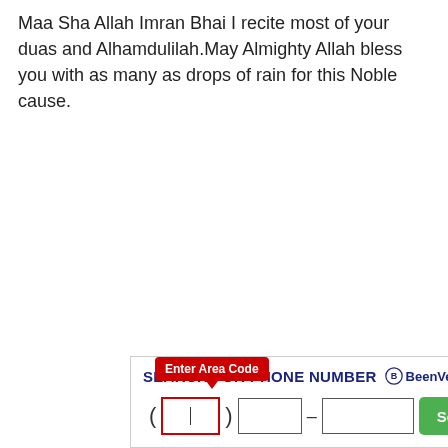Maa Sha Allah Imran Bhai I recite most of your duas and Alhamdulilah.May Almighty Allah bless you with as many as drops of rain for this Noble cause.
[Figure (screenshot): An advertisement widget for BeenVerified phone number search. Contains a header 'SEARCH FOR PHONE NUMBER' with BeenVerified logo, a tooltip bubble saying 'Enter Area Code' pointing to the first input field, and three phone number input boxes arranged as (___) ___-____ with a green Search button.]